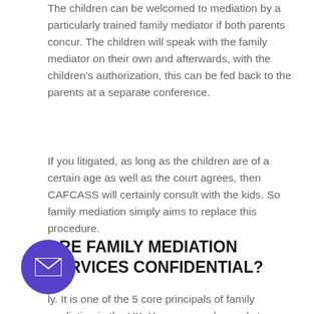The children can be welcomed to mediation by a particularly trained family mediator if both parents concur. The children will speak with the family mediator on their own and afterwards, with the children's authorization, this can be fed back to the parents at a separate conference.
If you litigated, as long as the children are of a certain age as well as the court agrees, then CAFCASS will certainly consult with the kids. So family mediation simply aims to replace this procedure.
ARE FAMILY MEDIATION SERVICES CONFIDENTIAL?
ly. It is one of the 5 core principals of family mediation in the UK. You can speak openly to your
[Figure (illustration): Purple circular button with a white envelope/email icon in the center]